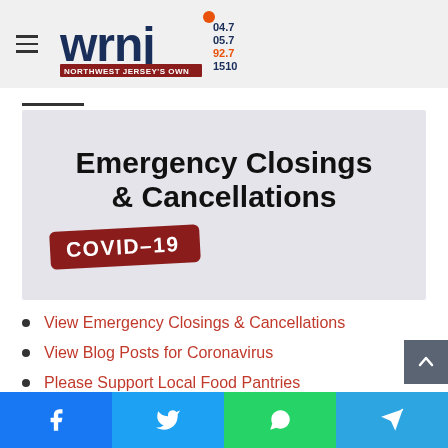WRNJ 104.7 105.7 92.7 1510 Northwest Jersey's Own
[Figure (infographic): Emergency Closings & Cancellations COVID-19 banner image with dark text on grey background and red COVID-19 badge]
View Emergency Closings & Cancellations
View Blog Posts for Coronavirus
Please Support Local Food Pantries
Facebook, Twitter, WhatsApp, Telegram share buttons